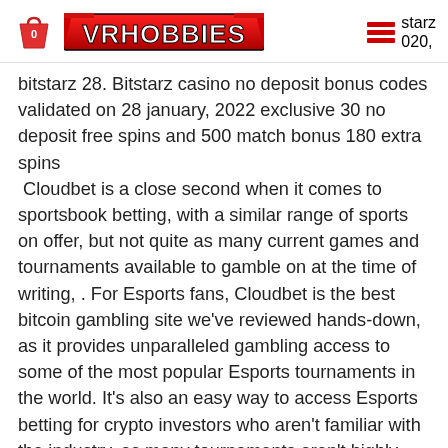VRHOBBIES | starz 020,
bitstarz 28. Bitstarz casino no deposit bonus codes validated on 28 january, 2022 exclusive 30 no deposit free spins and 500 match bonus 180 extra spins
 Cloudbet is a close second when it comes to sportsbook betting, with a similar range of sports on offer, but not quite as many current games and tournaments available to gamble on at the time of writing, . For Esports fans, Cloudbet is the best bitcoin gambling site we've reviewed hands-down, as it provides unparalleled gambling access to some of the most popular Esports tournaments in the world. It's also an easy way to access Esports betting for crypto investors who aren't familiar with the industry, as many tournaments aren't highly televised on mainstream media, so it can be hard to keep up to date with events. Cloudbet is a...